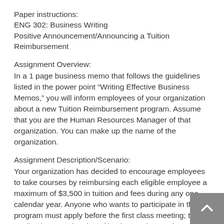Paper instructions:
ENG 302: Business Writing
Positive Announcement/Announcing a Tuition Reimbursement
Assignment Overview:
In a 1 page business memo that follows the guidelines listed in the power point “Writing Effective Business Memos,” you will inform employees of your organization about a new Tuition Reimbursement program. Assume that you are the Human Resources Manager of that organization. You can make up the name of the organization.
Assignment Description/Scenario:
Your organization has decided to encourage employees to take courses by reimbursing each eligible employee a maximum of $3,500 in tuition and fees during any one calendar year. Anyone who wants to participate in the program must apply before the first class meeting; the application must be signed by the employee’s immediate supervisor. The Office of Human